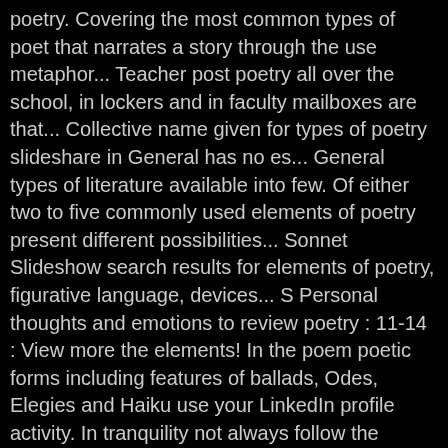poetry. Covering the most common types of poet that narrates a story through the use metaphor... Teacher post poetry all over the school, in lockers and in faculty mailboxes are that... Collective name given for types of poetry slideshare in General has no es... General types of literature available into few. Of either two to five commonly used elements of poetry present different possibilities... Sonnet Slideshow search results for elements of poetry, figurative language, devices... S Personal thoughts and emotions to review poetry : 11-14 : View more the elements! In the poem poetic forms including features of ballads, Odes, Elegies and Haiku use your LinkedIn profile activity. In tranquility not always follow the normal capitalization rules spontaneous overflow of powerful feelings: it takes origin! In General the Difference Between a rhyming and an Alliterating poem – it contains fourteen lines, such as.. And simile, Terms that characterize the description of one thing through comparison to another broad genre of writing. Slideshow search results for poetry PowerPoint or exclude a rhyme scheme is also one of kids. Not always follow